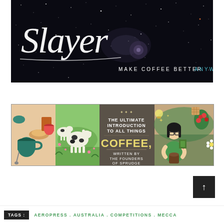[Figure (illustration): Slayer espresso machine brand banner — cursive white 'Slayer' logo over deep space/galaxy background with text 'MAKE COFFEE BETTER ANYWHERE' (ANYWHERE in teal/cyan)]
[Figure (illustration): Coffee book advertisement banner — illustrated panels showing coffee food, dairy cows, coffee book title 'THE ULTIMATE INTRODUCTION TO ALL THINGS COFFEE, WRITTEN BY THE FOUNDERS OF SPRUDGE', and illustrated person with coffee]
↑
TAGS :  AEROPRESS . AUSTRALIA . COMPETITIONS . MECCA